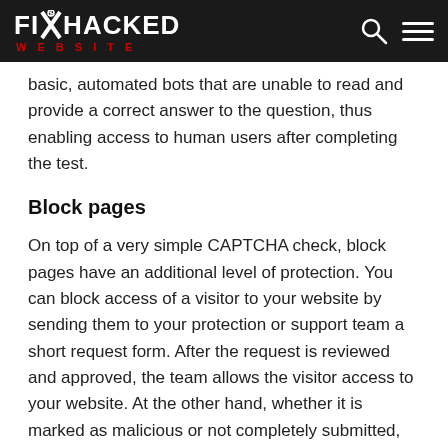FIX HACKED WEBSITE
basic, automated bots that are unable to read and provide a correct answer to the question, thus enabling access to human users after completing the test.
Block pages
On top of a very simple CAPTCHA check, block pages have an additional level of protection. You can block access of a visitor to your website by sending them to your protection or support team a short request form. After the request is reviewed and approved, the team allows the visitor access to your website. At the other hand, whether it is marked as malicious or not completely submitted, the team will drop the request entirely.
Drop access